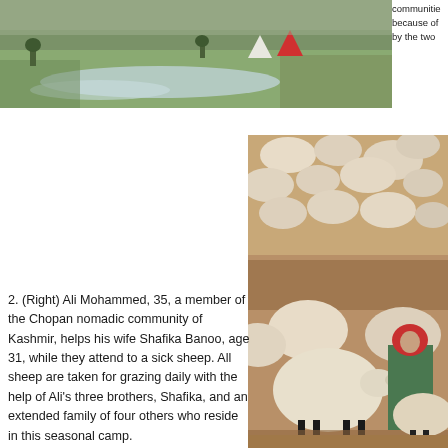[Figure (photo): Aerial or wide view of a nomadic camp beside a river/stream with green grassy terrain, tents visible including red and white tents, mountainous landscape backdrop.]
communities because of by the two
[Figure (photo): A woman wearing a red headscarf and green clothing crouches among a large flock of sheep on brown dusty terrain. A nomadic herding scene in Kashmir.]
2. (Right) Ali Mohammed, 35, a member of the Chopan nomadic community of Kashmir, helps his wife Shafika Banoo, age 31, while they attend to a sick sheep. All sheep are taken for grazing daily with the help of Ali’s three brothers, Shafika, and an extended family of four others who reside in this seasonal camp.